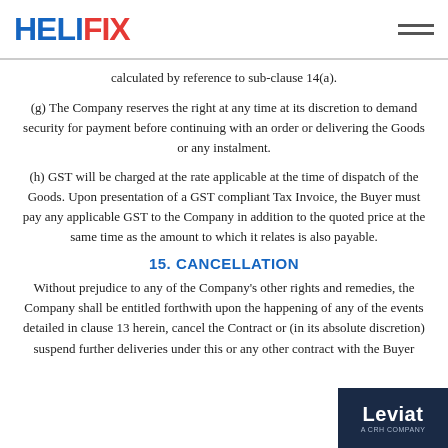HELIFIX
calculated by reference to sub-clause 14(a).
(g) The Company reserves the right at any time at its discretion to demand security for payment before continuing with an order or delivering the Goods or any instalment.
(h) GST will be charged at the rate applicable at the time of dispatch of the Goods. Upon presentation of a GST compliant Tax Invoice, the Buyer must pay any applicable GST to the Company in addition to the quoted price at the same time as the amount to which it relates is also payable.
15. CANCELLATION
Without prejudice to any of the Company's other rights and remedies, the Company shall be entitled forthwith upon the happening of any of the events detailed in clause 13 herein, cancel the Contract or (in its absolute discretion) suspend further deliveries under this or any other contract with the Buyer